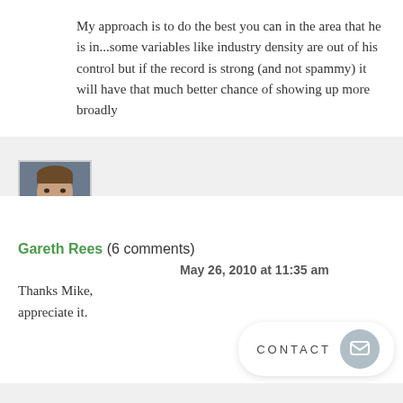My approach is to do the best you can in the area that he is in...some variables like industry density are out of his control but if the record is strong (and not spammy) it will have that much better chance of showing up more broadly
[Figure (photo): Avatar photo of a man smiling, brown hair, wearing a light blue shirt]
Gareth Rees (6 comments)
May 26, 2010 at 11:35 am
Thanks Mike, appreciate it.
CONTACT